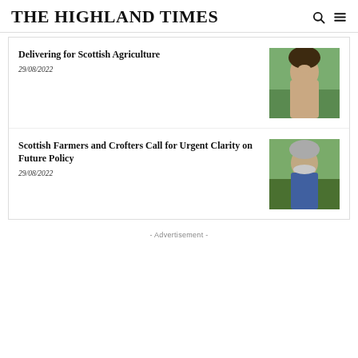THE HIGHLAND TIMES
Delivering for Scottish Agriculture
29/08/2022
[Figure (photo): Portrait photo of a young woman with dark hair, smiling, outdoors with green background]
Scottish Farmers and Crofters Call for Urgent Clarity on Future Policy
29/08/2022
[Figure (photo): Photo of an older man with grey beard wearing a blue vest, outdoors with hills in background]
- Advertisement -